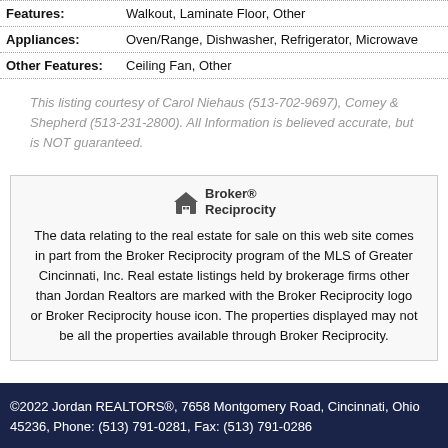| Features: | Walkout, Laminate Floor, Other |
| Appliances: | Oven/Range, Dishwasher, Refrigerator, Microwave |
| Other Features: | Ceiling Fan, Other |
This listing courtesy of Carol Niehaus (513-702-9697), Comey & Shepherd (513-231-2800). All Information is believed accurate, but is NOT guaranteed.
[Figure (logo): Broker Reciprocity logo with house icon]
The data relating to the real estate for sale on this web site comes in part from the Broker Reciprocity program of the MLS of Greater Cincinnati, Inc. Real estate listings held by brokerage firms other than Jordan Realtors are marked with the Broker Reciprocity logo or Broker Reciprocity house icon. The properties displayed may not be all the properties available through Broker Reciprocity.
©2022 Jordan REALTORS®, 7658 Montgomery Road, Cincinnati, Ohio 45236, Phone: (513) 791-0281, Fax: (513) 791-0286